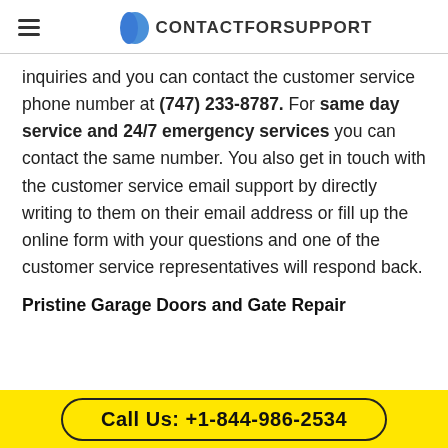CONTACTFORSUPPORT
inquiries and you can contact the customer service phone number at (747) 233-8787. For same day service and 24/7 emergency services you can contact the same number. You also get in touch with the customer service email support by directly writing to them on their email address or fill up the online form with your questions and one of the customer service representatives will respond back.
Pristine Garage Doors and Gate Repair
Call Us: +1-844-986-2534